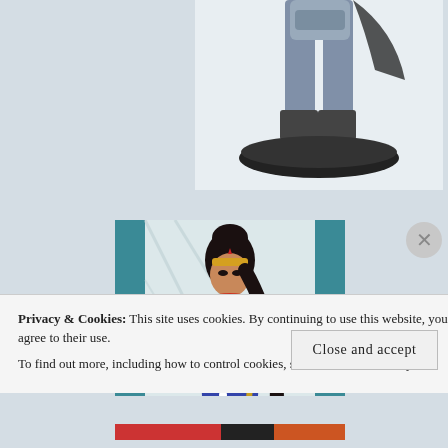[Figure (photo): Top portion of a dark/metallic superhero or robot figurine on a white background, showing legs and base on a round black platform.]
[Figure (photo): Wonder Woman comic-style figurine with black hair in a bun, golden tiara with red star, red and gold bodice, blue skirt with stars, and holding a golden staff. Background has diagonal teal/blue stripe pattern.]
Privacy & Cookies: This site uses cookies. By continuing to use this website, you agree to their use.
To find out more, including how to control cookies, see here: Cookie Policy
Close and accept